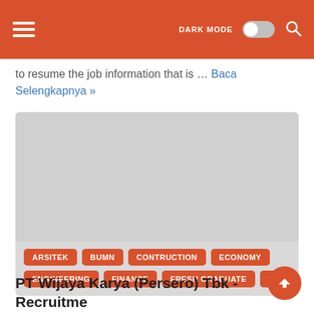DARK MODE [toggle] [search]
to resume the job information that is … Baca Selengkapnya »
[Figure (screenshot): Gray placeholder card image area with tags at the bottom: ARSITEK, BUMN, CONTRUCTION, ECONOMY, ENGINEERING, FINANCE, FRESH GRADUATE, S1]
PT Wijaya Karya (Persero) Tbk - Recruitment For Program WIKA (S1,Fresh Graduated) January 2014